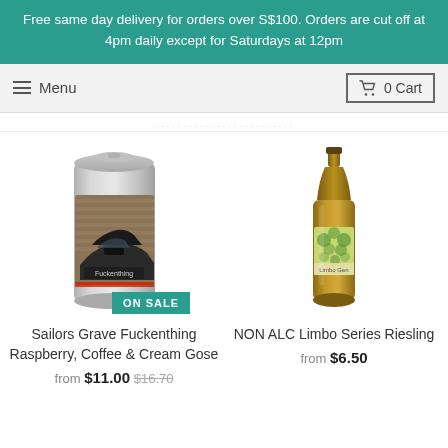Free same day delivery for orders over S$100. Orders are cut off at 4pm daily except for Saturdays at 12pm
Menu
0 Cart
[Figure (photo): A tall beer can with a dark car and brick wall graphic, labeled Fuckenthing, with an ON SALE teal badge]
Sailors Grave Fuckenthing Raspberry, Coffee & Cream Gose from $11.00 $16.70
[Figure (photo): A brown glass beer bottle with a green and tan label, NON ALC Limbo Series Riesling]
NON ALC Limbo Series Riesling from $6.50